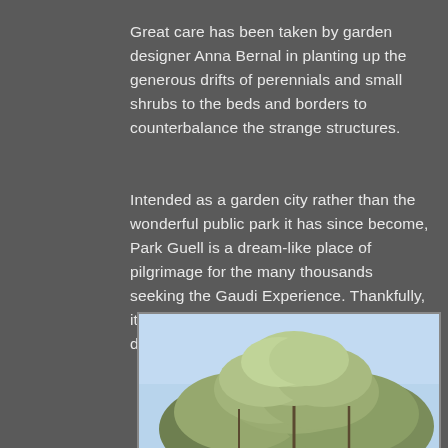Great care has been taken by garden designer Anna Bernal in planting up the generous drifts of perennials and small shrubs to the beds and borders to counterbalance the strange structures.
Intended as a garden city rather than the wonderful public park it has since become, Park Guell is a dream-like place of pilgrimage for the many thousands seeking the Gaudi Experience. Thankfully, it has come a long way since the grim days of Franco.
[Figure (photo): A photo of tree branches with green-grey foliage against a light blue sky, cropped at the bottom of the page.]